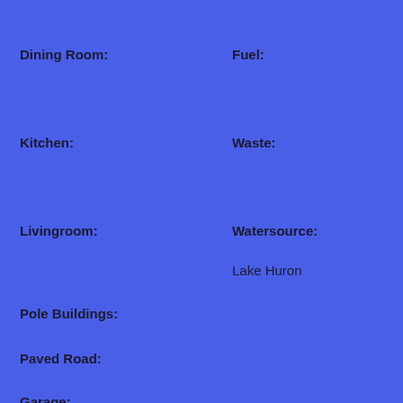Dining Room:
Fuel:
Kitchen:
Waste:
Livingroom:
Watersource:
Lake Huron
Pole Buildings:
Paved Road:
Garage:
Garage Description:
Exterior: